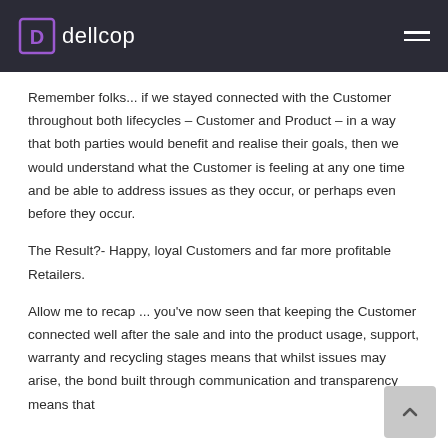dellcop
Remember folks... if we stayed connected with the Customer throughout both lifecycles – Customer and Product – in a way that both parties would benefit and realise their goals, then we would understand what the Customer is feeling at any one time and be able to address issues as they occur, or perhaps even before they occur.
The Result?- Happy, loyal Customers and far more profitable Retailers.
Allow me to recap ... you've now seen that keeping the Customer connected well after the sale and into the product usage, support, warranty and recycling stages means that whilst issues may arise, the bond built through communication and transparency means that